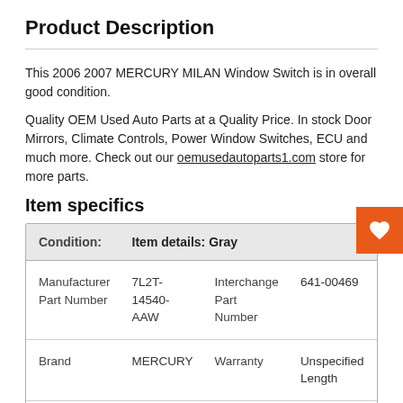Product Description
This 2006 2007 MERCURY MILAN Window Switch is in overall good condition.
Quality OEM Used Auto Parts at a Quality Price. In stock Door Mirrors, Climate Controls, Power Window Switches, ECU and much more. Check out our oemusedautoparts1.com store for more parts.
Item specifics
| Condition: | Item details: Gray |  |  |
| --- | --- | --- | --- |
| Manufacturer Part Number | 7L2T-14540-AAW | Interchange Part Number | 641-00469 |
| Brand | MERCURY | Warranty | Unspecified Length |
| Color |  | Bin | R5S08B23 |